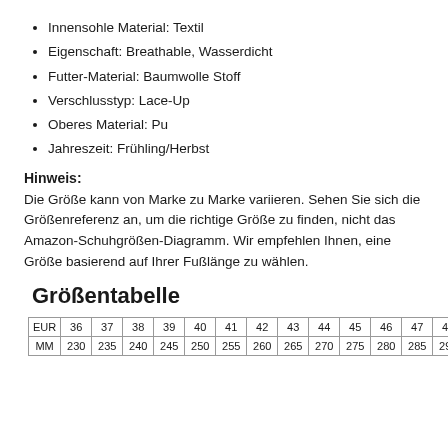Innensohle Material: Textil
Eigenschaft: Breathable, Wasserdicht
Futter-Material: Baumwolle Stoff
Verschlusstyp: Lace-Up
Oberes Material: Pu
Jahreszeit: Frühling/Herbst
Hinweis:
Die Größe kann von Marke zu Marke variieren. Sehen Sie sich die Größenreferenz an, um die richtige Größe zu finden, nicht das Amazon-Schuhgrößen-Diagramm. Wir empfehlen Ihnen, eine Größe basierend auf Ihrer Fußlänge zu wählen.
Größentabelle
| EUR | 36 | 37 | 38 | 39 | 40 | 41 | 42 | 43 | 44 | 45 | 46 | 47 | 48 |
| --- | --- | --- | --- | --- | --- | --- | --- | --- | --- | --- | --- | --- | --- |
| MM | 230 | 235 | 240 | 245 | 250 | 255 | 260 | 265 | 270 | 275 | 280 | 285 | 290 |